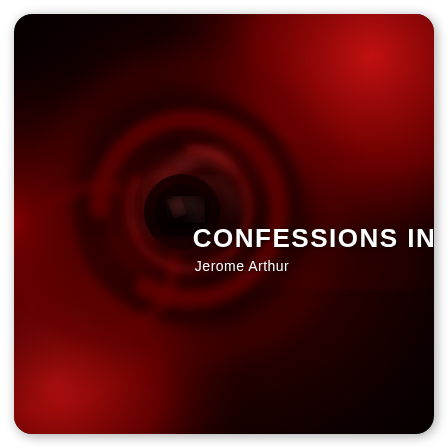[Figure (illustration): Book cover with dark background featuring a swirling red and black abstract vortex pattern resembling the inside of a wine glass or rose. Red tones dominate the upper right and lower left corners. The center shows a dark spiral. Title text 'CONFESSIONS IN RED' in bold white uppercase letters and author name 'Jerome Arthur' in white below it are overlaid on the right-center portion of the image.]
CONFESSIONS IN RED
Jerome Arthur